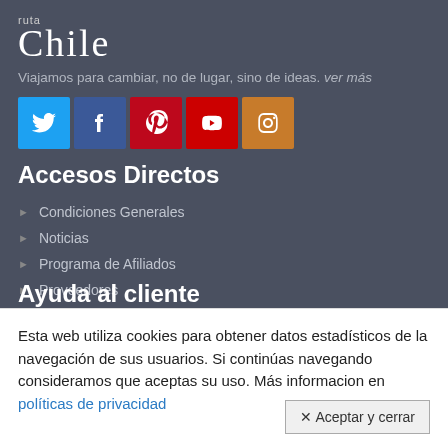[Figure (logo): Ruta Chile logo with stylized text]
Viajamos para cambiar, no de lugar, sino de ideas. ver más
[Figure (infographic): Social media icons: Twitter, Facebook, Pinterest, YouTube, Instagram]
Accesos Directos
Condiciones Generales
Noticias
Programa de Afiliados
Proveedores
SiteMap
Ayuda al cliente
Esta web utiliza cookies para obtener datos estadísticos de la navegación de sus usuarios. Si continúas navegando consideramos que aceptas su uso. Más informacion en políticas de privacidad
✕ Aceptar y cerrar